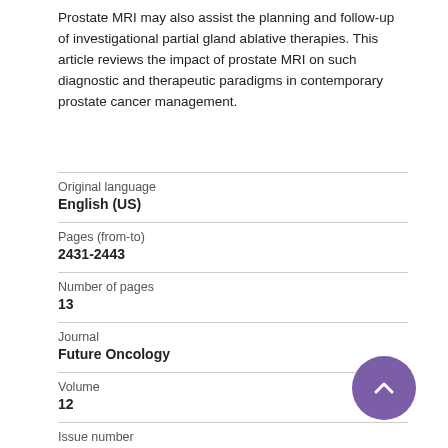Prostate MRI may also assist the planning and follow-up of investigational partial gland ablative therapies. This article reviews the impact of prostate MRI on such diagnostic and therapeutic paradigms in contemporary prostate cancer management.
| Original language | English (US) |
| Pages (from-to) | 2431-2443 |
| Number of pages | 13 |
| Journal | Future Oncology |
| Volume | 12 |
| Issue number | 21 |